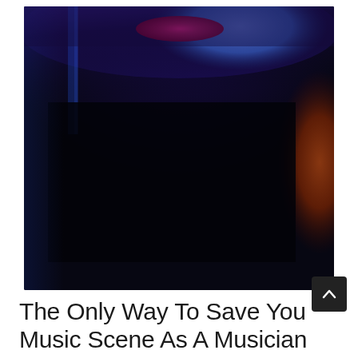[Figure (photo): A DJ operating turntables and mixing equipment in a dark, moody setting lit with blue and purple ambient lighting. A hand is visible on a pink/magenta vinyl record. Warm orange glow visible on the right side suggesting a stage or club environment.]
The Only Way To Save Your Music Scene As A Musician